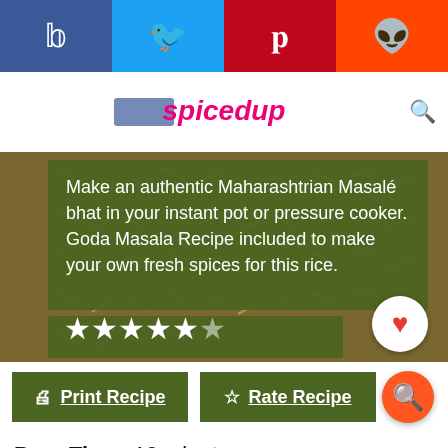[Figure (screenshot): Social share bar with Facebook, Twitter, Pinterest, Reddit buttons]
[Figure (screenshot): Website logo bar with search icon]
[Figure (photo): Photo of Maharashtrian Masale Bhat rice dish with green overlay text and star rating]
Make an authentic Maharashtrian Masalé bhat in your instant pot or pressure cooker. Goda Masala Recipe included to make your own fresh spices for this rice.
Print Recipe  Rate Recipe
Prep Time: 10 minutes
Cook Time: 20 minutes
Total Time: 30 minutes